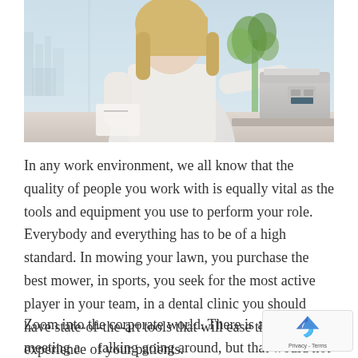[Figure (photo): Woman in white shirt holding papers standing near a printer/copier in an office environment with city skyline visible through window and green plant in background]
In any work environment, we all know that the quality of people you work with is equally vital as the tools and equipment you use to perform your role. Everybody and everything has to be of a high standard. In mowing your lawn, you purchase the best mower, in sports, you seek for the most active player in your team, in a dental clinic you should have state-of-the-art tools that will ease the experience of your patients.
Zoom into the corporate world. There is a ton of meeting and talking going around, but that would not be enough to drive your